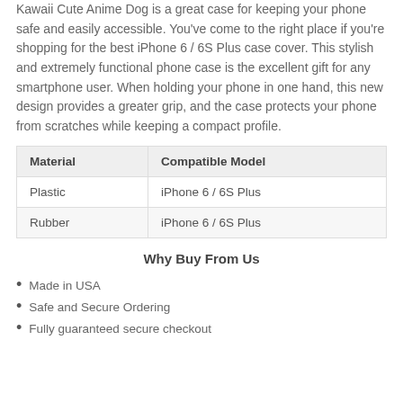Kawaii Cute Anime Dog is a great case for keeping your phone safe and easily accessible. You've come to the right place if you're shopping for the best iPhone 6 / 6S Plus case cover. This stylish and extremely functional phone case is the excellent gift for any smartphone user. When holding your phone in one hand, this new design provides a greater grip, and the case protects your phone from scratches while keeping a compact profile.
| Material | Compatible Model |
| --- | --- |
| Plastic | iPhone 6 / 6S Plus |
| Rubber | iPhone 6 / 6S Plus |
Why Buy From Us
Made in USA
Safe and Secure Ordering
Fully guaranteed secure checkout